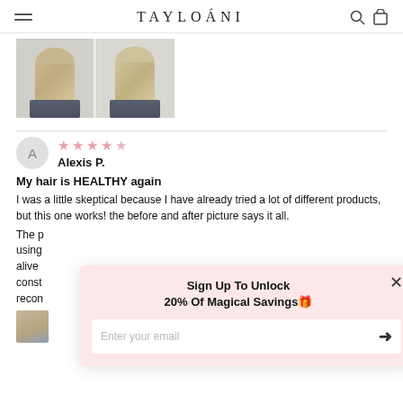TAYLOÁNI
[Figure (photo): Before and after hair photo showing two views of blonde hair from behind]
Alexis P.
My hair is HEALTHY again
I was a little skeptical because I have already tried a lot of different products, but this one works! the before and after picture says it all.
The p[artially obscured text] using [obscured] alive [obscured] const[antly obscured] recom[mend obscured]
[Figure (screenshot): Sign Up To Unlock 20% Of Magical Savings popup with email input field and close button]
[Figure (photo): Small thumbnail of hair photo at bottom left]